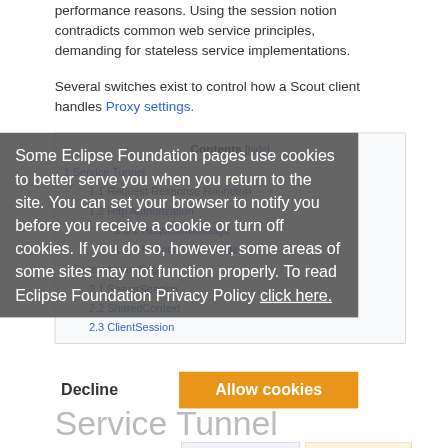performance reasons. Using the session notion contradicts common web service principles, demanding for stateless service implementations.
Several switches exist to control how a Scout client handles Proxy settings.
Contents [hide]
1 Service Tunnel
  1.1 Request Response Roundtrip
  1.2 Http Authorization
    1.3.1 Request Message
    1.3.2 Response Message
2 Session Handling
  2.1 ServerSession
  2.2 SharedContext
  2.3 ClientSession
Some Eclipse Foundation pages use cookies to better serve you when you return to the site. You can set your browser to notify you before you receive a cookie or turn off cookies. If you do so, however, some areas of some sites may not function properly. To read Eclipse Foundation Privacy Policy click here.
Decline
Allow cookies
Service Tunnel
Scout client - server